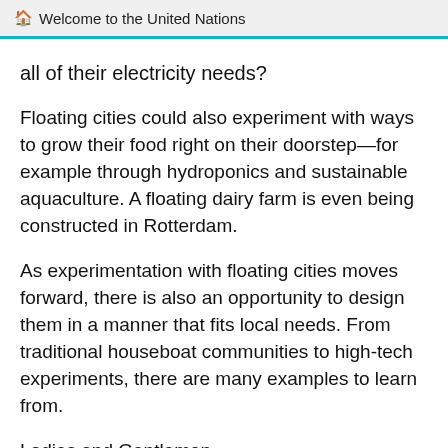Welcome to the United Nations
all of their electricity needs?
Floating cities could also experiment with ways to grow their food right on their doorstep—for example through hydroponics and sustainable aquaculture. A floating dairy farm is even being constructed in Rotterdam.
As experimentation with floating cities moves forward, there is also an opportunity to design them in a manner that fits local needs. From traditional houseboat communities to high-tech experiments, there are many examples to learn from.
Ladies and Gentlemen,
We are gathered here because we share a commitment to a